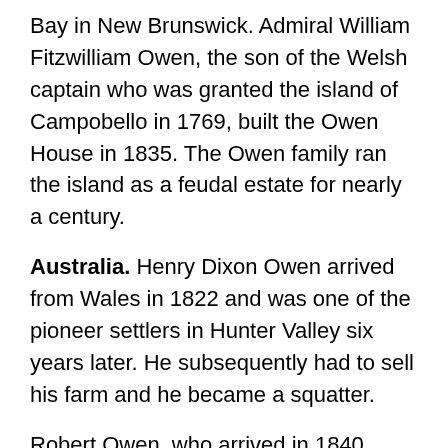Bay in New Brunswick. Admiral William Fitzwilliam Owen, the son of the Welsh captain who was granted the island of Campobello in 1769, built the Owen House in 1835. The Owen family ran the island as a feudal estate for nearly a century.
Australia. Henry Dixon Owen arrived from Wales in 1822 and was one of the pioneer settlers in Hunter Valley six years later. He subsequently had to sell his farm and he became a squatter.
Robert Owen, who arrived in 1840, came from a prosperous family in the northeast of England. He established himself as a lawyer in Sydney and soon became a large landowner in the Illawara and Murrumbidgee districts. Some of his descendants settled in Wollongong, NSW and they produced Evelyn Owen, the inventor of the Owen sub-machine gun during World War Two.